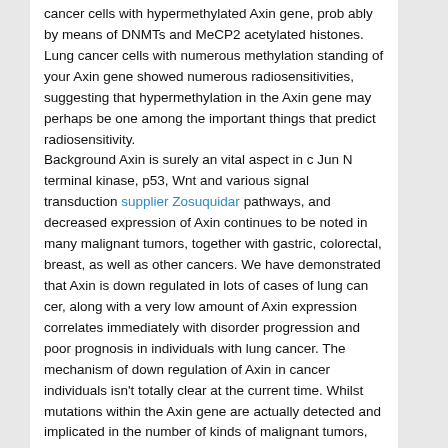cancer cells with hypermethylated Axin gene, prob ably by means of DNMTs and MeCP2 acetylated histones. Lung cancer cells with numerous methylation standing of your Axin gene showed numerous radiosensitivities, suggesting that hypermethylation in the Axin gene may perhaps be one among the important things that predict radiosensitivity. Background Axin is surely an vital aspect in c Jun N terminal kinase, p53, Wnt and various signal transduction supplier Zosuquidar pathways, and decreased expression of Axin continues to be noted in many malignant tumors, together with gastric, colorectal, breast, as well as other cancers. We have demonstrated that Axin is down regulated in lots of cases of lung can cer, along with a very low amount of Axin expression correlates immediately with disorder progression and poor prognosis in individuals with lung cancer. The mechanism of down regulation of Axin in cancer individuals isn't totally clear at the current time. Whilst mutations within the Axin gene are actually detected and implicated in the number of kinds of malignant tumors, the mutation rate is minimal and